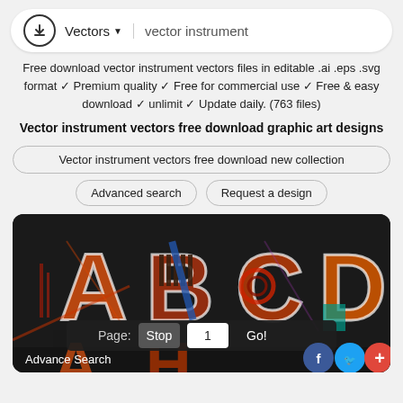Vectors ▾  vector instrument
Free download vector instrument vectors files in editable .ai .eps .svg format ✓ Premium quality ✓ Free for commercial use ✓ Free & easy download ✓ unlimit ✓ Update daily. (763 files)
Vector instrument vectors free download graphic art designs
Vector instrument vectors free download new collection
Advanced search   Request a design
[Figure (illustration): Colorful artistic letters A, B, C, D rendered with musical instrument textures on dark background, with pagination controls (Page: Stop 1 Go!), Advance Search label, and social media icons (Facebook, Twitter, plus)]